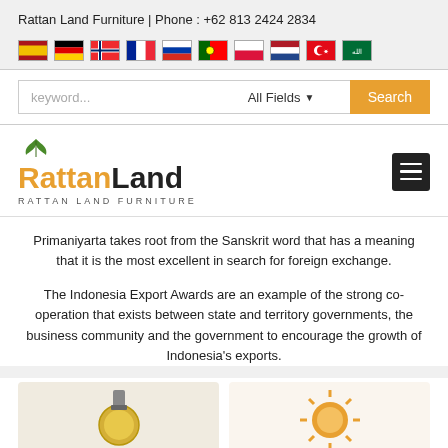Rattan Land Furniture | Phone : +62 813 2424 2834
[Figure (infographic): Row of 10 country flag icons for language selection (Spanish, German, Norwegian, French, Russian, Portuguese, Polish, Dutch, Turkish, Arabic)]
[Figure (screenshot): Search bar with keyword input, All Fields dropdown, and orange Search button]
[Figure (logo): RattanLand logo with green leaf icon above, 'Rattan' in orange bold text, 'Land' in dark bold text, subtitle 'RATTAN LAND FURNITURE' in spaced small caps, and hamburger menu icon on right]
Primaniyarta takes root from the Sanskrit word that has a meaning that it is the most excellent in search for foreign exchange.
The Indonesia Export Awards are an example of the strong co-operation that exists between state and territory governments, the business community and the government to encourage the growth of Indonesia's exports.
[Figure (photo): Two partially visible award images at the bottom of the page]